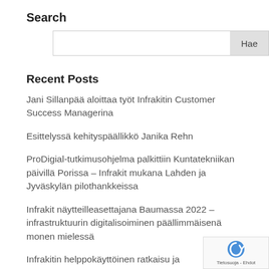Search
Search input box with Hae button
Recent Posts
Jani Sillanpää aloittaa työt Infrakitin Customer Success Managerina
Esittelyssä kehityspäällikkö Janika Rehn
ProDigial-tutkimusohjelma palkittiin Kuntatekniikan päivillä Porissa – Infrakit mukana Lahden ja Jyväskylän pilothankkeissa
Infrakit näytteilleasettajana Baumassa 2022 – infrastruktuurin digitalisoiminen päällimmäisenä monen mielessä
Infrakitin helppokäyttöinen ratkaisu ja